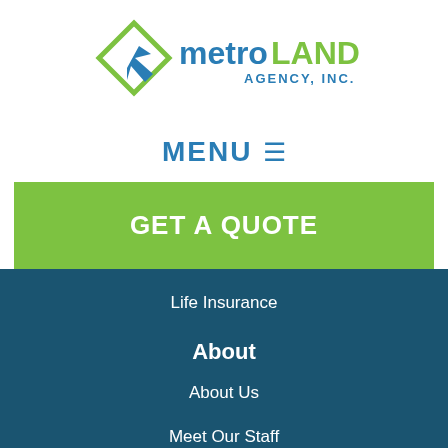[Figure (logo): MetroLand Agency Inc. logo with green diamond shape and arrow icon, 'metro' in blue and 'LAND' in green, 'AGENCY, INC.' in blue below]
MENU ☰
GET A QUOTE
Life Insurance
About
About Us
Meet Our Staff